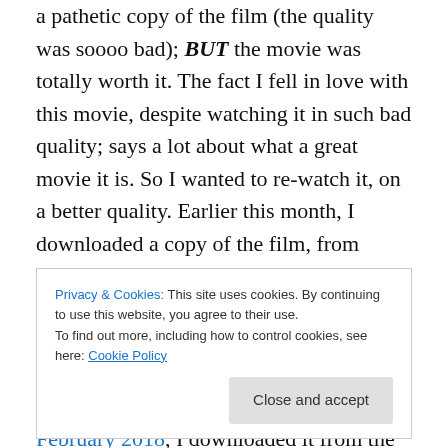a pathetic copy of the film (the quality was soooo bad); BUT the movie was totally worth it. The fact I fell in love with this movie, despite watching it in such bad quality; says a lot about what a great movie it is. So I wanted to re-watch it, on a better quality. Earlier this month, I downloaded a copy of the film, from another site. It took 7 hours or so; felt like the whole day. To see, it was a 30 second clip, stating, to watch the full movie, go to some website!! I was infuriated, and utterly disappointed. Then, on 22nd February 2018, I downloaded it from the site I
Privacy & Cookies: This site uses cookies. By continuing to use this website, you agree to their use. To find out more, including how to control cookies, see here: Cookie Policy
downloaded version was crisp and clear (sadly just the